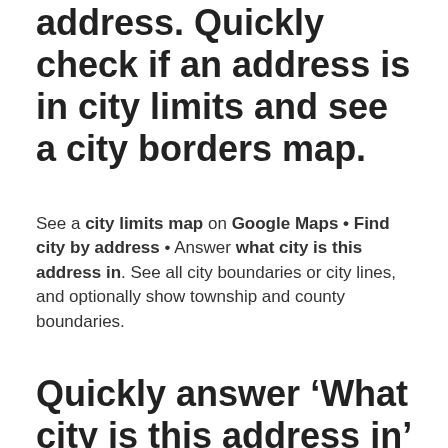address. Quickly check if an address is in city limits and see a city borders map.
See a city limits map on Google Maps • Find city by address • Answer what city is this address in. See all city boundaries or city lines, and optionally show township and county boundaries.
Quickly answer ‘What city is this address in’ and ‘What city do I live in’ anywhere in the U.S.
To find city by address, type the address into the Search places box above the map